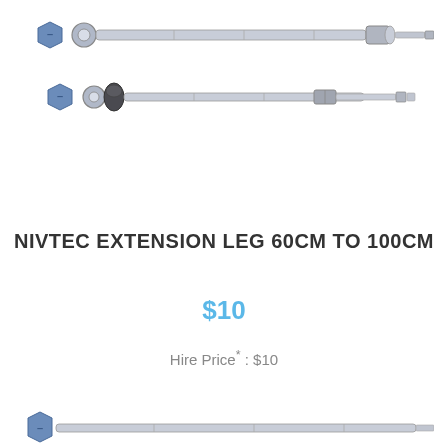[Figure (photo): Photo of a NIVTEC extension leg bolt/anchor component shown from above (two variants of the bolt assembly)]
NIVTEC EXTENSION LEG 60CM TO 100CM
$10
Hire Price* : $10
[Figure (photo): Photo of a NIVTEC extension leg bolt/anchor component (partial, bottom of page)]